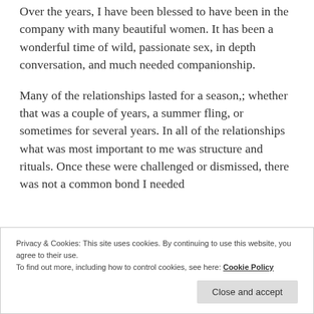Over the years, I have been blessed to have been in the company with many beautiful women. It has been a wonderful time of wild, passionate sex, in depth conversation, and much needed companionship.
Many of the relationships lasted for a season,; whether that was a couple of years, a summer fling, or sometimes for several years. In all of the relationships what was most important to me was structure and rituals. Once these were challenged or dismissed, there was not a common bond I needed
Privacy & Cookies: This site uses cookies. By continuing to use this website, you agree to their use.
To find out more, including how to control cookies, see here: Cookie Policy